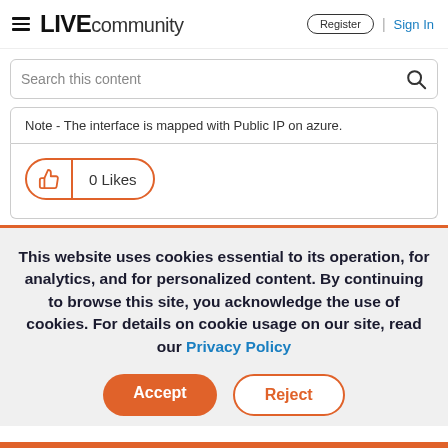LIVE community   Register | Sign In
Search this content
Note - The interface is mapped with Public IP on azure.
0 Likes
This website uses cookies essential to its operation, for analytics, and for personalized content. By continuing to browse this site, you acknowledge the use of cookies. For details on cookie usage on our site, read our Privacy Policy
Accept   Reject